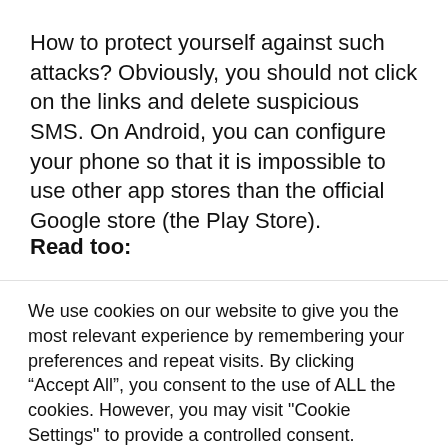How to protect yourself against such attacks? Obviously, you should not click on the links and delete suspicious SMS. On Android, you can configure your phone so that it is impossible to use other app stores than the official Google store (the Play Store).
Read too:
We use cookies on our website to give you the most relevant experience by remembering your preferences and repeat visits. By clicking “Accept All”, you consent to the use of ALL the cookies. However, you may visit "Cookie Settings" to provide a controlled consent.